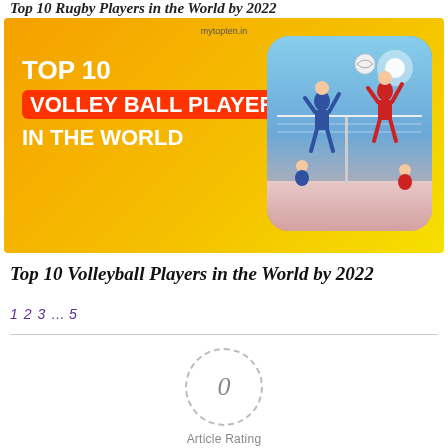Top 10 Rugby Players in the World by 2022
[Figure (illustration): Promotional banner for 'Top 10 Volley Ball Player in the World' from mytopten.in with orange/yellow background and volleyball players action photo on the right]
Top 10 Volleyball Players in the World by 2022
1 2 3 … 5
[Figure (infographic): Article rating circle with dashed border showing 0 in the center and 'Article Rating' label below]